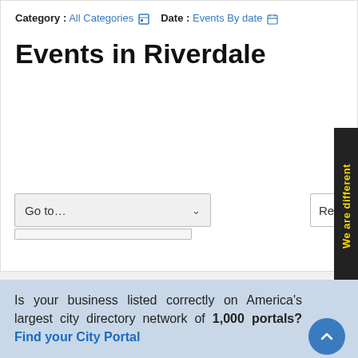Category : All Categories  Date : Events By date
Events in Riverdale
[Figure (screenshot): Go to... dropdown selector]
[Figure (screenshot): Recent First dropdown selector]
[Figure (screenshot): We are different side banner in black with yellow text]
Is your business listed correctly on America's largest city directory network of 1,000 portals? Find your City Portal